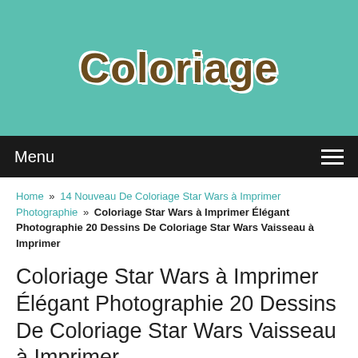Coloriage
Menu
Home » 14 Nouveau De Coloriage Star Wars à Imprimer Photographie » Coloriage Star Wars à Imprimer Élégant Photographie 20 Dessins De Coloriage Star Wars Vaisseau à Imprimer
Coloriage Star Wars à Imprimer Élégant Photographie 20 Dessins De Coloriage Star Wars Vaisseau à Imprimer
Back to 14 Nouveau De Coloriage Star Wars à Imprimer Photographie